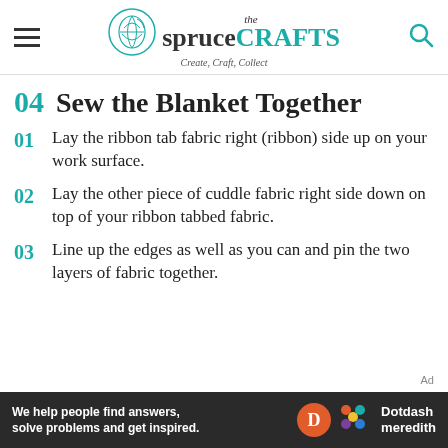the spruce CRAFTS — Create, Craft, Collect
04 Sew the Blanket Together
01 Lay the ribbon tab fabric right (ribbon) side up on your work surface.
02 Lay the other piece of cuddle fabric right side down on top of your ribbon tabbed fabric.
03 Line up the edges as well as you can and pin the two layers of fabric together.
[Figure (logo): Dotdash Meredith advertisement banner — We help people find answers, solve problems and get inspired.]